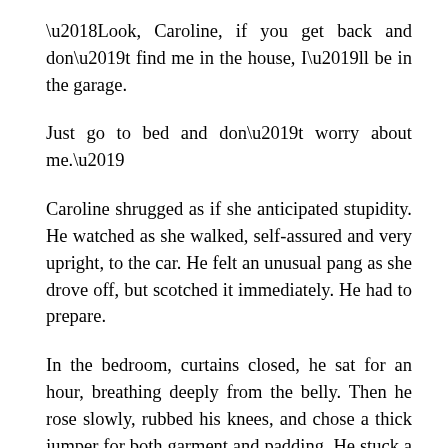‘Look, Caroline, if you get back and don’t find me in the house, I’ll be in the garage.
Just go to bed and don’t worry about me.’
Caroline shrugged as if she anticipated stupidity. He watched as she walked, self-assured and very upright, to the car. He felt an unusual pang as she drove off, but scotched it immediately. He had to prepare.
In the bedroom, curtains closed, he sat for an hour, breathing deeply from the belly. Then he rose slowly, rubbed his knees, and chose a thick jumper for both garment and padding. He stuck a piece of masking tape over his mouth. One step down from utility room to garage.